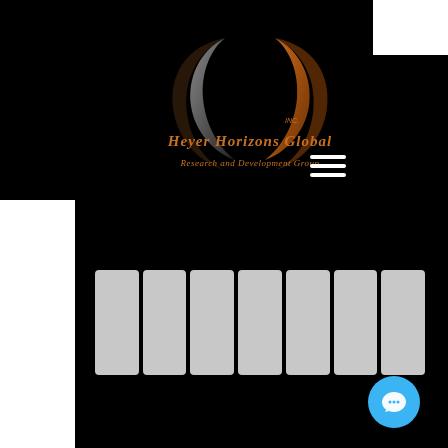[Figure (logo): Heyer Horizons Global Inc. Research and Development Group logo — stylized crescent moon / double-C symbol in dark metallic tones with orange-brown scripted text on black background]
[Figure (infographic): Navigation grid of 7 gray rectangular cells arranged in a single horizontal row, representing website navigation menu items]
[Figure (other): Blue circular chat/message button in bottom-right area with white speech bubble icon]